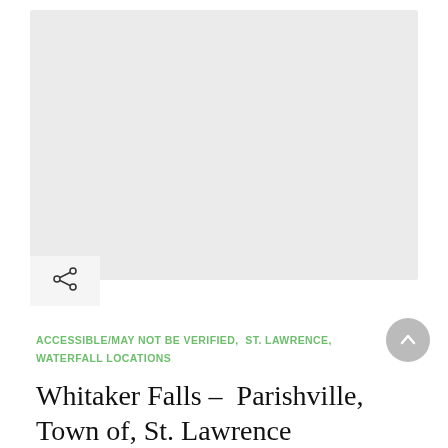[Figure (photo): Large light gray placeholder image area at the top of the page]
ACCESSIBLE/MAY NOT BE VERIFIED,  ST. LAWRENCE,  WATERFALL LOCATIONS
Whitaker Falls – Parishville, Town of, St. Lawrence